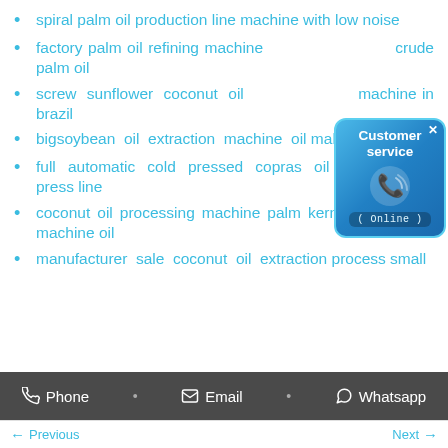spiral palm oil production line machine with low noise
factory palm oil refining mach... crude palm oil
screw sunflower coconut oi... machine in brazil
bigsoybean oil extraction machine oil making machine
full automatic cold pressed copras oil line screw oil press line
coconut oil processing machine palm kernel oil expeller machine oil
manufacturer sale coconut oil extraction process small
[Figure (illustration): Customer service widget showing a blue rounded square with phone icon and 'Online' status label, titled 'Customer service']
Phone • Email • Whatsapp
← Previous    Next →